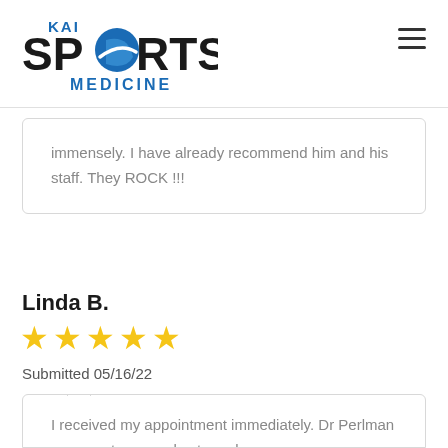[Figure (logo): KAI Sports Medicine logo with blue globe graphic and text 'KAI SPORTS MEDICINE' in black and blue]
immensely. I have already recommend him and his staff. They ROCK !!!
Linda B.
[Figure (other): 5 gold star rating icons]
Submitted 05/16/22
I received my appointment immediately. Dr Perlman was courteous and extremely